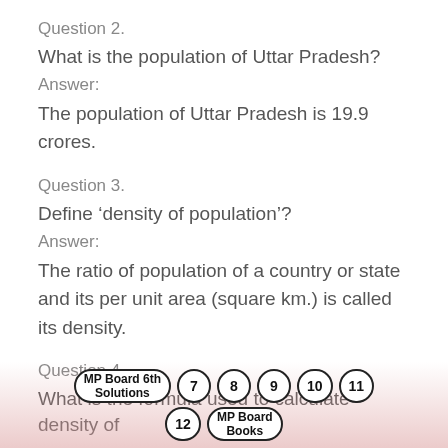Question 2.
What is the population of Uttar Pradesh?
Answer:
The population of Uttar Pradesh is 19.9 crores.
Question 3.
Define ‘density of population’?
Answer:
The ratio of population of a country or state and its per unit area (square km.) is called its density.
Question 4.
What is the formula used to calculate density of
MP Board 6th Solutions  7  8  9  10  11  12  MP Board Books